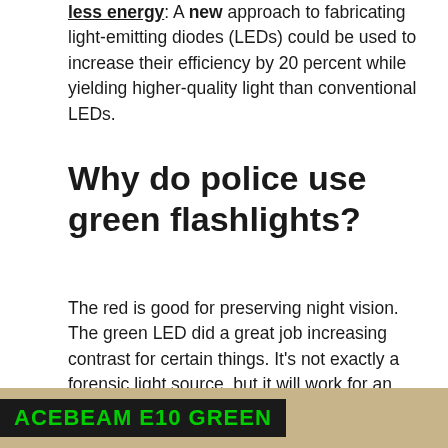less energy. A new approach to fabricating light-emitting diodes (LEDs) could be used to increase their efficiency by 20 percent while yielding higher-quality light than conventional LEDs.
Why do police use green flashlights?
The red is good for preserving night vision. The green LED did a great job increasing contrast for certain things. It's not exactly a forensic light source, but it will work for an initial sweep at the patrol level. Hunters use green because many animals don't see, or are indifferent to, green light.
[Figure (photo): Banner image showing ACEBEAM E10 GREEN text in green on dark background with brown/tan background to the right]